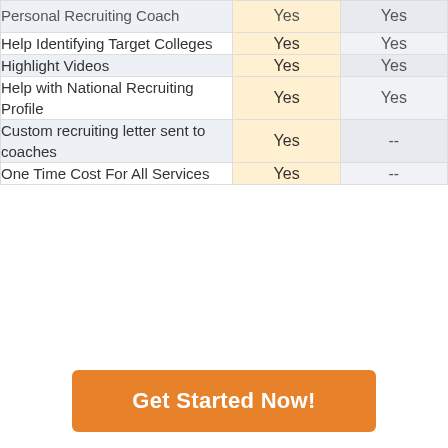| Feature | Column 1 | Column 2 |
| --- | --- | --- |
| Personal Recruiting Coach | Yes | Yes |
| Help Identifying Target Colleges | Yes | Yes |
| Highlight Videos | Yes | Yes |
| Help with National Recruiting Profile | Yes | Yes |
| Custom recruiting letter sent to coaches | Yes | -- |
| One Time Cost For All Services | Yes | -- |
Get Started Now!